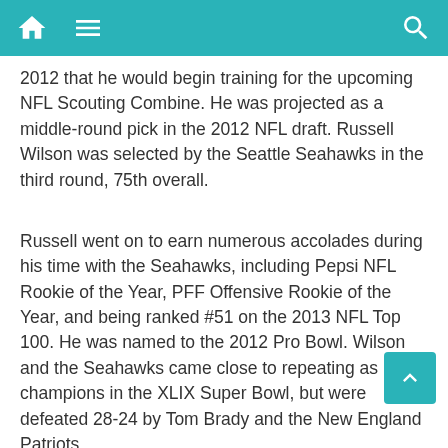Navigation header with home, menu, and search icons
2012 that he would begin training for the upcoming NFL Scouting Combine. He was projected as a middle-round pick in the 2012 NFL draft. Russell Wilson was selected by the Seattle Seahawks in the third round, 75th overall.
Russell went on to earn numerous accolades during his time with the Seahawks, including Pepsi NFL Rookie of the Year, PFF Offensive Rookie of the Year, and being ranked #51 on the 2013 NFL Top 100. He was named to the 2012 Pro Bowl. Wilson and the Seahawks came close to repeating as champions in the XLIX Super Bowl, but were defeated 28-24 by Tom Brady and the New England Patriots.
Wilson has been selected to seven Pro Bowls and started in two Super